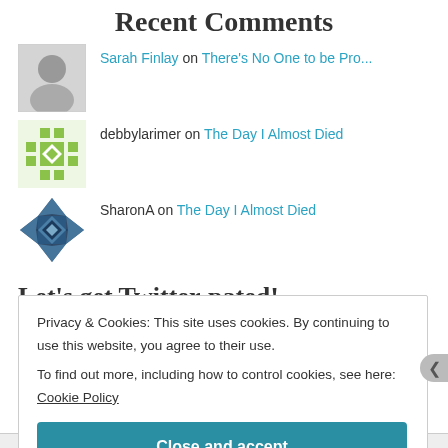Recent Comments
Sarah Finlay on There's No One to be Pro...
debbylarimer on The Day I Almost Died
SharonA on The Day I Almost Died
Let's get Twitter-pated!
My Tweets
Privacy & Cookies: This site uses cookies. By continuing to use this website, you agree to their use.
To find out more, including how to control cookies, see here: Cookie Policy
Close and accept